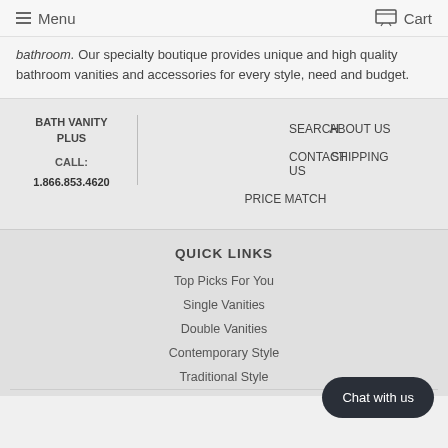Menu | Cart
bathroom. Our specialty boutique provides unique and high quality bathroom vanities and accessories for every style, need and budget.
BATH VANITY PLUS
CALL:
1.866.853.4620
SEARCH
ABOUT US
CONTACT US
SHIPPING
PRICE MATCH
QUICK LINKS
Top Picks For You
Single Vanities
Double Vanities
Contemporary Style
Traditional Style